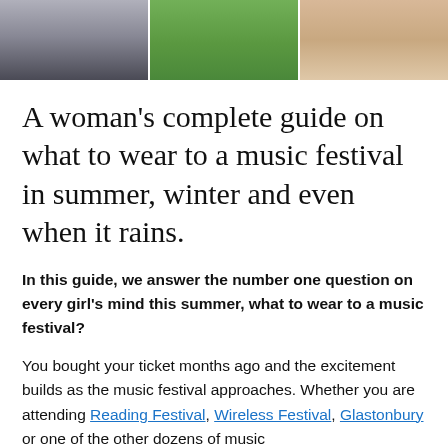[Figure (photo): Three cropped photos side by side showing festival clothing/footwear: left panel shows rain boots on wet ground, middle panel shows blue boots on grass, right panel shows a person's legs in summer attire.]
A woman's complete guide on what to wear to a music festival in summer, winter and even when it rains.
In this guide, we answer the number one question on every girl's mind this summer, what to wear to a music festival?
You bought your ticket months ago and the excitement builds as the music festival approaches. Whether you are attending Reading Festival, Wireless Festival, Glastonbury or one of the other dozens of music